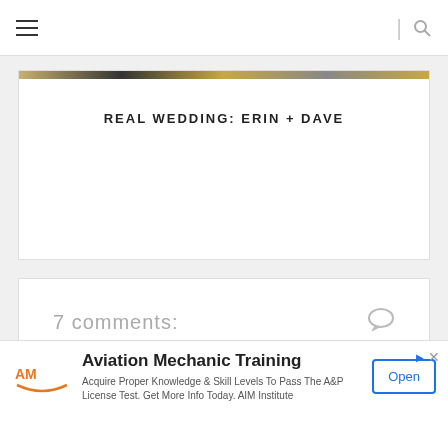Navigation menu and search icon
REAL WEDDING: ERIN + DAVE
7 comments:
sandy said...
That venue is really special.
[Figure (infographic): Advertisement for Aviation Mechanic Training by AIM Institute with logo, description, and Open button]